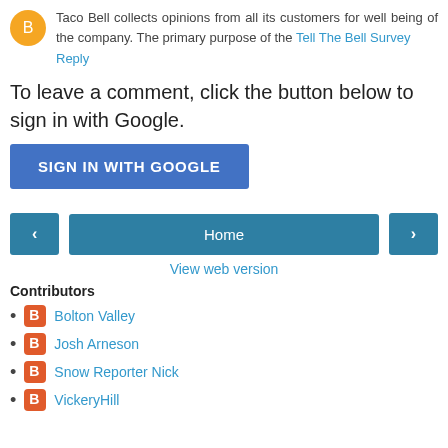Taco Bell collects opinions from all its customers for well being of the company. The primary purpose of the Tell The Bell Survey
Reply
To leave a comment, click the button below to sign in with Google.
SIGN IN WITH GOOGLE
[Figure (other): Navigation bar with left arrow button, Home button, and right arrow button]
View web version
Contributors
Bolton Valley
Josh Arneson
Snow Reporter Nick
VickeryHill